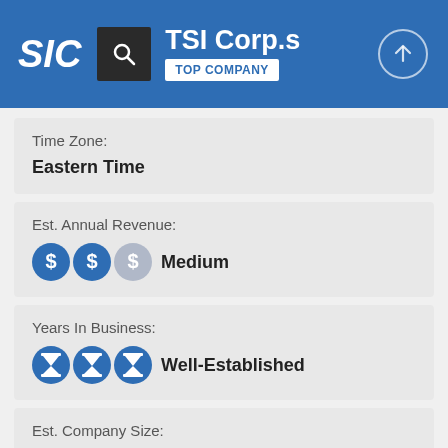SIC | TSI Corp.s | TOP COMPANY
Time Zone:
Eastern Time
Est. Annual Revenue:
Medium
Years In Business:
Well-Established
Est. Company Size:
Medium
City Size: